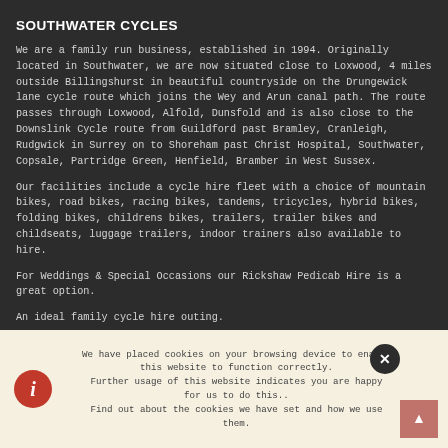SOUTHWATER CYCLES
We are a family run business, established in 1994. Originally located in Southwater, we are now situated close to Loxwood, 4 miles outside Billingshurst in beautiful countryside on the Drungewick lane cycle route which joins the Wey and Arun canal path. The route passes through Loxwood, Alfold, Dunsfold and is also close to the Downslink Cycle route from Guildford past Bramley, Cranleigh, Rudgwick in Surrey on to Shoreham past Christ Hospital, Southwater, Copsale, Partridge Green, Henfield, Bramber in West Sussex.
Our facilities include a cycle hire fleet with a choice of mountain bikes, road bikes, racing bikes, tandems, tricycles, hybrid bikes, folding bikes, childrens bikes, trailers, trailer bikes and childseats, luggage trailers, indoor trainers also available to hire.
For Weddings & Special Occasions our Rickshaw Pedicab Hire is a great option.
An ideal family cycle hire outing.
Bike Hire In West Sussex
We have placed cookies on your browsing device to enable this website to function correctly.
Further usage of this website indicates you are happy for us to do this..
Find out about the cookies we have set and how we use them.